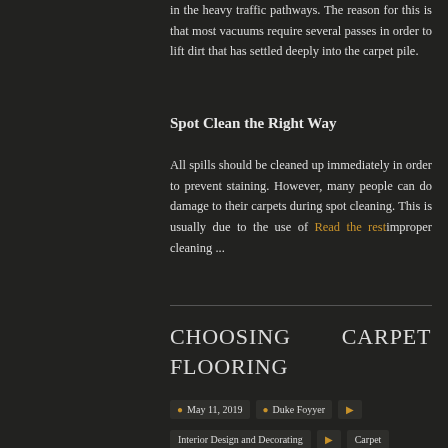in the heavy traffic pathways. The reason for this is that most vacuums require several passes in order to lift dirt that has settled deeply into the carpet pile.
Spot Clean the Right Way
All spills should be cleaned up immediately in order to prevent staining. However, many people can do damage to their carpets during spot cleaning. This is usually due to the use of Read the restimproper cleaning ...
CHOOSING CARPET FLOORING
May 11, 2019  Duke Foyyer
Interior Design and Decorating  Carpet